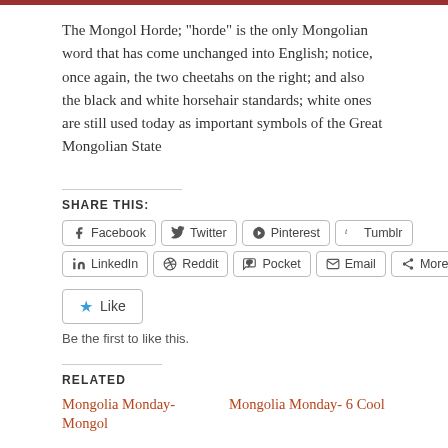The Mongol Horde; "horde" is the only Mongolian word that has come unchanged into English; notice, once again, the two cheetahs on the right; and also the black and white horsehair standards; white ones are still used today as important symbols of the Great Mongolian State
SHARE THIS:
Facebook Twitter Pinterest Tumblr LinkedIn Reddit Pocket Email More
Like
Be the first to like this.
RELATED
Mongolia Monday- Mongol
Mongolia Monday- 6 Cool